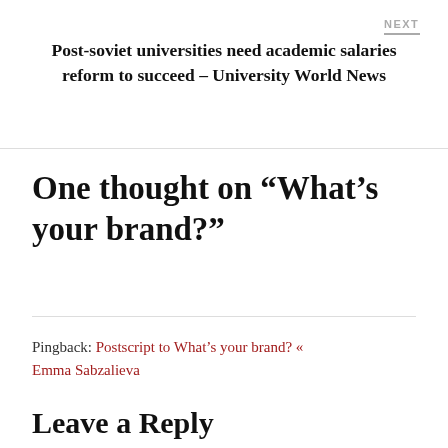NEXT
Post-soviet universities need academic salaries reform to succeed – University World News
One thought on “What’s your brand?”
Pingback: Postscript to What’s your brand? « Emma Sabzalieva
Leave a Reply